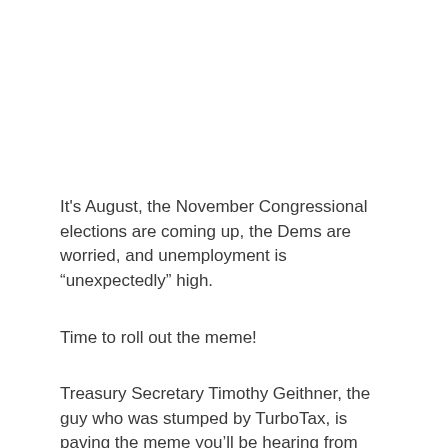It's August, the November Congressional elections are coming up, the Dems are worried, and unemployment is “unexpectedly” high.
Time to roll out the meme!
Treasury Secretary Timothy Geithner, the guy who was stumped by TurboTax, is paving the meme you’ll be hearing from